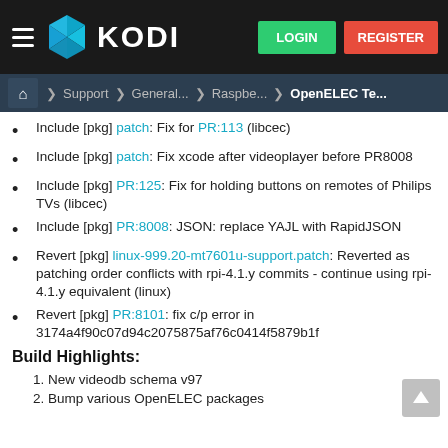KODI — LOGIN REGISTER
Home > Support > General... > Raspbe... > OpenELEC Te...
Include [pkg] patch: Fix for PR:113 (libcec)
Include [pkg] patch: Fix xcode after videoplayer before PR8008
Include [pkg] PR:125: Fix for holding buttons on remotes of Philips TVs (libcec)
Include [pkg] PR:8008: JSON: replace YAJL with RapidJSON
Revert [pkg] linux-999.20-mt7601u-support.patch: Reverted as patching order conflicts with rpi-4.1.y commits - continue using rpi-4.1.y equivalent (linux)
Revert [pkg] PR:8101: fix c/p error in 3174a4f90c07d94c2075875af76c0414f5879b1f
Build Highlights:
1. New videodb schema v97
2. Bump various OpenELEC packages